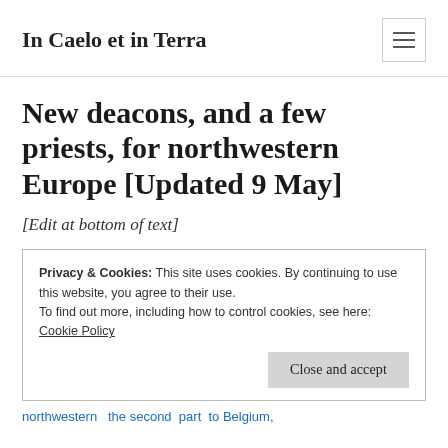In Caelo et in Terra
New deacons, and a few priests, for northwestern Europe [Updated 9 May]
[Edit at bottom of text]
Privacy & Cookies: This site uses cookies. By continuing to use this website, you agree to their use.
To find out more, including how to control cookies, see here: Cookie Policy
Close and accept